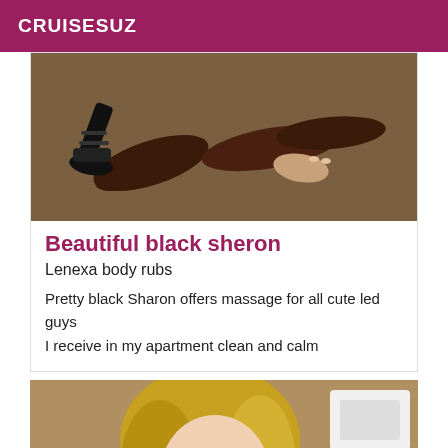CRUISESUZ
[Figure (photo): Close-up photo of dark-skinned legs and high heeled sandals on a carpet floor]
Beautiful black sheron
Lenexa body rubs
Pretty black Sharon offers massage for all cute led guys I receive in my apartment clean and calm
[Figure (photo): Photo of a blonde woman looking at the camera, indoors]